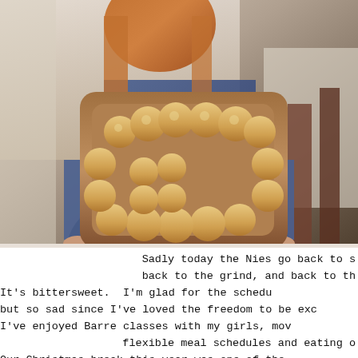[Figure (photo): A person with curly red hair holds a large wooden tray shaped with rounded edges, filled with golden-brown dinner rolls arranged in a pattern resembling the number 25 or a decorative shape. The background shows a dining table setting.]
Sadly today the Nies go back to s back to the grind, and back to th It's bittersweet.  I'm glad for the schedu but so sad since I've loved the freedom to be exc I've enjoyed Barre classes with my girls, mov flexible meal schedules and eating o Our Christmas break this year was one of the Around the table and under candi: